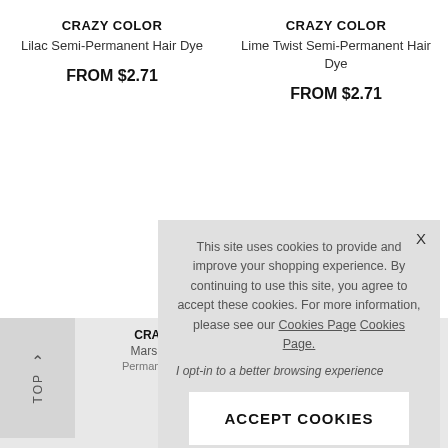CRAZY COLOR
Lilac Semi-Permanent Hair Dye
FROM $2.71
CRAZY COLOR
Lime Twist Semi-Permanent Hair Dye
FROM $2.71
This site uses cookies to provide and improve your shopping experience. By continuing to use this site, you agree to accept these cookies. For more information, please see our Cookies Page Cookies Page.
I opt-in to a better browsing experience
ACCEPT COOKIES
CRAZY CO...
Marshmallow...